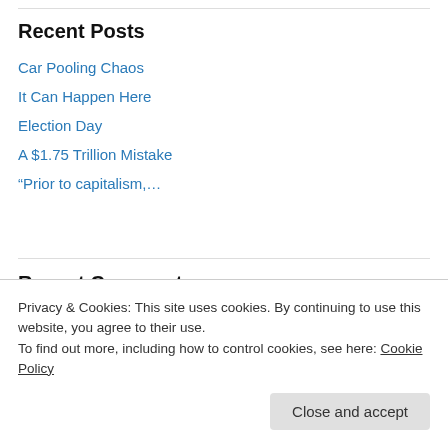Recent Posts
Car Pooling Chaos
It Can Happen Here
Election Day
A $1.75 Trillion Mistake
“Prior to capitalism,…
Recent Comments
Frederick on It Can Happen Here
Privacy & Cookies: This site uses cookies. By continuing to use this website, you agree to their use.
To find out more, including how to control cookies, see here: Cookie Policy
Close and accept